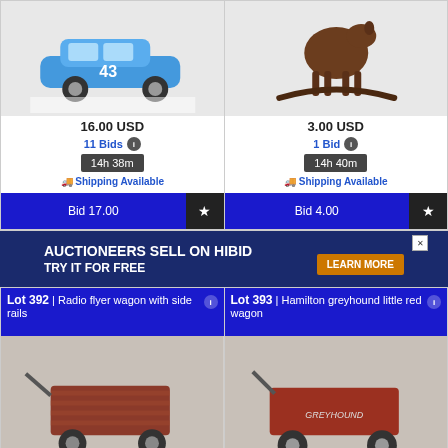[Figure (photo): Blue NASCAR model car #43 on white background]
16.00 USD
11 Bids
14h 38m
Shipping Available
Bid 17.00
[Figure (photo): Brown cast iron rocking horse figurine on white background]
3.00 USD
1 Bid
14h 40m
Shipping Available
Bid 4.00
[Figure (screenshot): Advertisement banner: AUCTIONEERS SELL ON HIBID TRY IT FOR FREE LEARN MORE]
Lot 392 | Radio flyer wagon with side rails
[Figure (photo): Red Radio Flyer wagon with wooden side rails on concrete floor]
Lot 393 | Hamilton greyhound little red wagon
[Figure (photo): Red Greyhound little wagon on concrete floor]